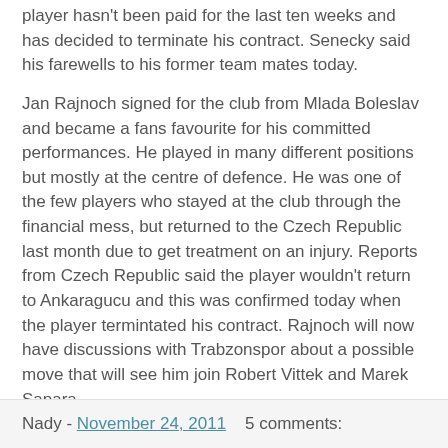player hasn't been paid for the last ten weeks and has decided to terminate his contract. Senecky said his farewells to his former team mates today.
Jan Rajnoch signed for the club from Mlada Boleslav and became a fans favourite for his committed performances. He played in many different positions but mostly at the centre of defence. He was one of the few players who stayed at the club through the financial mess, but returned to the Czech Republic last month due to get treatment on an injury. Reports from Czech Republic said the player wouldn't return to Ankaragucu and this was confirmed today when the player termintated his contract. Rajnoch will now have discussions with Trabzonspor about a possible move that will see him join Robert Vittek and Marek Sapara.
Good luck to both of them, especially Rajnoch who served us well, and im sure he will keep the bench warm with Sapara at Trabzon if he moves.
Nady - November 24, 2011    5 comments: